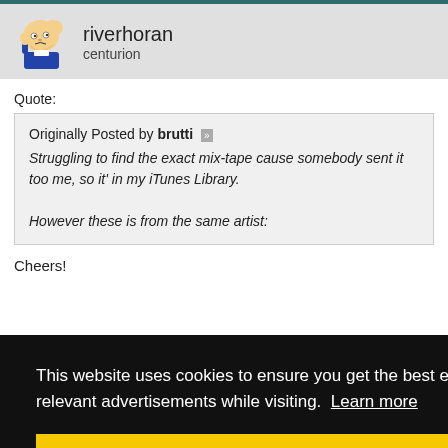riverhoran
centurion
Quote:
Originally Posted by brutti
Struggling to find the exact mix-tape cause somebody sent it too me, so it' in my iTunes Library.

However these is from the same artist:
Cheers!
This website uses cookies to ensure you get the best experience and relevant advertisements while visiting. Learn more
Got it!
#314
so I